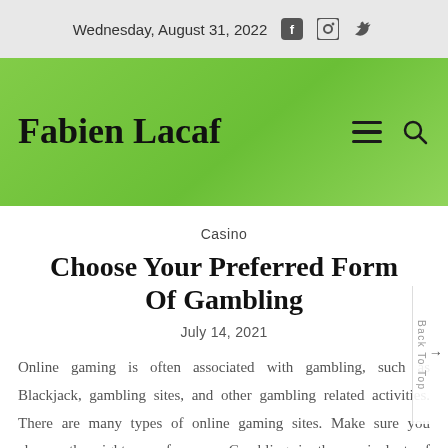Wednesday, August 31, 2022
[Figure (logo): Fabien Lacaf site logo with green gradient header background and hamburger menu icon and search icon]
Casino
Choose Your Preferred Form Of Gambling
July 14, 2021
Online gaming is often associated with gambling, such as Blackjack, gambling sites, and other gambling related activities. There are many types of online gaming sites. Make sure you choose the right one for you. Gambling is the equivalent of gambling, which can